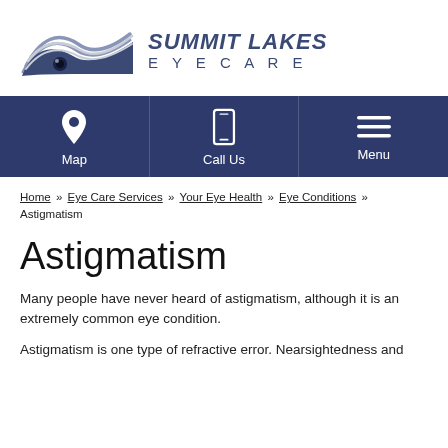[Figure (logo): Summit Lakes Eyecare logo with stylized eye/mountain wave graphic and text]
[Figure (infographic): Navigation bar with three icons: Map (location pin), Call Us (mobile phone), Menu (hamburger lines) on dark blue background]
Home » Eye Care Services » Your Eye Health » Eye Conditions » Astigmatism
Astigmatism
Many people have never heard of astigmatism, although it is an extremely common eye condition.
Astigmatism is one type of refractive error. Nearsightedness and